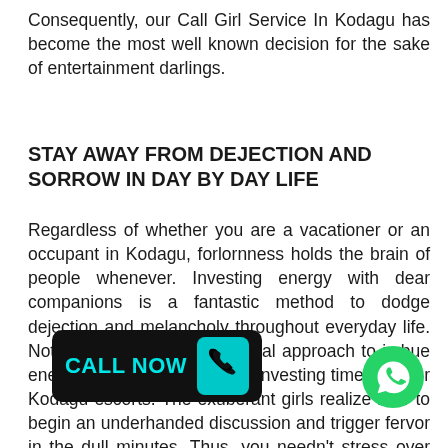Consequently, our Call Girl Service In Kodagu has become the most well known decision for the sake of entertainment darlings.
STAY AWAY FROM DEJECTION AND SORROW IN DAY BY DAY LIFE
Regardless of whether you are a vacationer or an occupant in Kodagu, forlornness holds the brain of people whenever. Investing energy with dear companions is a fantastic method to dodge dejection and melancholy throughout everyday life. Notwithstanding, the most ideal approach to imbue energy and happiness is that investing time with our Kodagu escorts. The exuberant girls realize how to begin an underhanded discussion and trigger fervor in the dull minutes. Thus, you needn't stress over satisfaction. S instances for what they are to d hering.
[Figure (other): CALL NOW button with phone icon in black/cyan, and WhatsApp green circle icon]